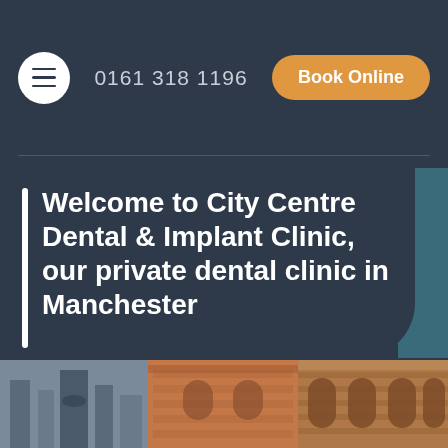0161 318 1196
Book Online
Welcome to City Centre Dental & Implant Clinic, our private dental clinic in Manchester
For a special smile that everyone will remember, visit our private dentists in Manchester.
[Figure (photo): Bottom strip showing photographs of Manchester city centre buildings including brick Victorian architecture with arched windows.]